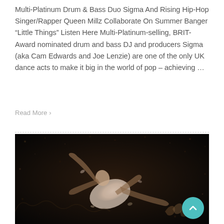Multi-Platinum Drum & Bass Duo Sigma And Rising Hip-Hop Singer/Rapper Queen Millz Collaborate On Summer Banger “Little Things” Listen Here Multi-Platinum-selling, BRIT-Award nominated drum and bass DJ and producers Sigma (aka Cam Edwards and Joe Lenzie) are one of the only UK dance acts to make it big in the world of pop – achieving …
Read More >
[Figure (photo): Dark atmospheric photo of a person in a white dress floating or falling through the air with arms outstretched, shot in black and white sepia tones against a dark background]